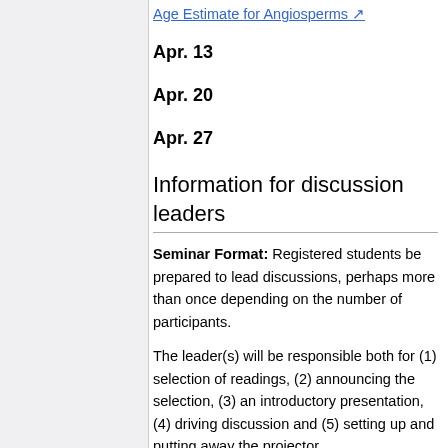Age Estimate for Angiosperms
Apr. 13
Apr. 20
Apr. 27
Information for discussion leaders
Seminar Format: Registered students be prepared to lead discussions, perhaps more than once depending on the number of participants.
The leader(s) will be responsible both for (1) selection of readings, (2) announcing the selection, (3) an introductory presentation, (4) driving discussion and (5) setting up and putting away the projector.